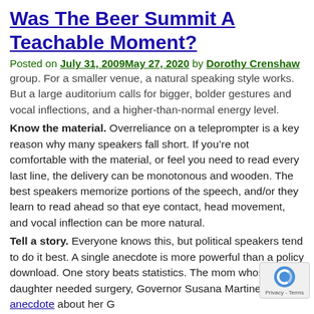Was The Beer Summit A Teachable Moment?
Posted on July 31, 2009May 27, 2020 by Dorothy Crenshaw
group. For a smaller venue, a natural speaking style works. But a large auditorium calls for bigger, bolder gestures and vocal inflections, and a higher-than-normal energy level.
Know the material. Overreliance on a teleprompter is a key reason why many speakers fall short. If you’re not comfortable with the material, or feel you need to read every last line, the delivery can be monotonous and wooden. The best speakers memorize portions of the speech, and/or they learn to read ahead so that eye contact, head movement, and vocal inflection can be more natural.
Tell a story. Everyone knows this, but political speakers tend to do it best. A single anecdote is more powerful than a policy download. One story beats statistics. The mom whose daughter needed surgery, Governor Susana Martinez’s anecdote about her G awakening, and Tammy Duckworth’s inspiring story were just a few